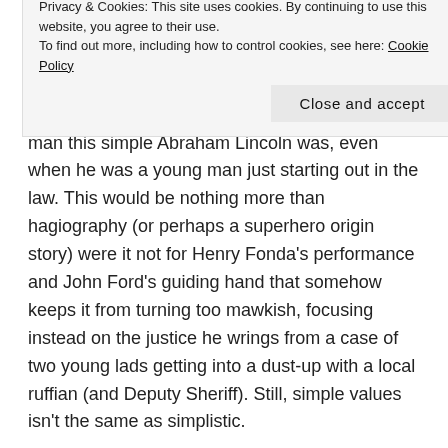Perhaps this just plays much more strongly to American audiences, but the swelling orchestral music that comes in at key moments makes it pretty clear what a fundamentally honourable man this simple Abraham Lincoln was, even when he was a young man just starting out in the law. This would be nothing more than hagiography (or perhaps a superhero origin story) were it not for Henry Fonda's performance and John Ford's guiding hand that somehow keeps it from turning too mawkish, focusing instead on the justice he wrings from a case of two young lads getting into a dust-up with a local ruffian (and Deputy Sheriff). Still, simple values isn't the same as simplistic.
Privacy & Cookies: This site uses cookies. By continuing to use this website, you agree to their use.
To find out more, including how to control cookies, see here: Cookie Policy
Close and accept